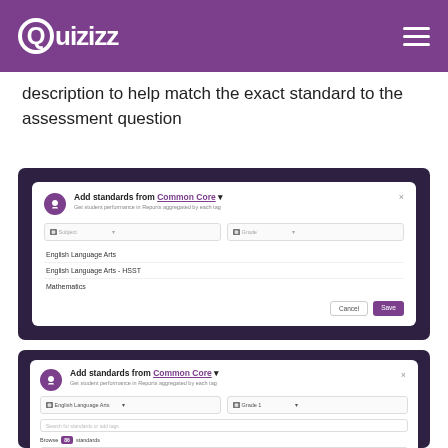Quizizz
description to help match the exact standard to the assessment question
[Figure (screenshot): Quizizz 'Add standards from Common Core' modal dialog showing subject selection dropdown with options: English Language Arts, English Language Arts - HSST, Mathematics, and Cancel/Save buttons]
[Figure (screenshot): Quizizz 'Add standards from Common Core' modal dialog with English Language Arts and Grade 1 selected, showing search box, Browse standards section, Previously added label, and CCSS.ELA-LITERACY.L.1.1.a standard]